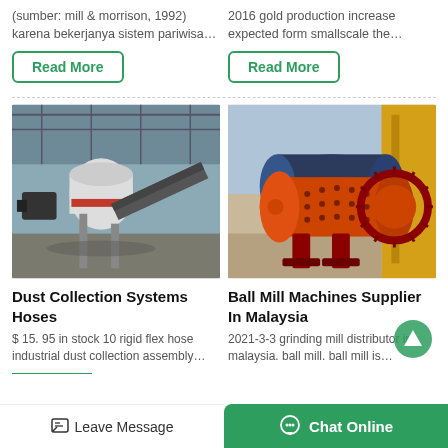(sumber: mill & morrison, 1992)
karena bekerjanya sistem pariwisa…
2016 gold production increase expected form smallscale the…
Read More
Read More
[Figure (photo): Industrial dust collection machinery in a factory with conveyor belts and equipment]
[Figure (photo): Large orange ball mill machine outdoors with yellow structural components]
Dust Collection Systems Hoses
Ball Mill Machines Supplier In Malaysia
$ 15. 95 in stock 10 rigid flex hose industrial dust collection assembly…
2021-3-3 grinding mill distributor in malaysia. ball mill. ball mill is…
Leave Message
Chat Online